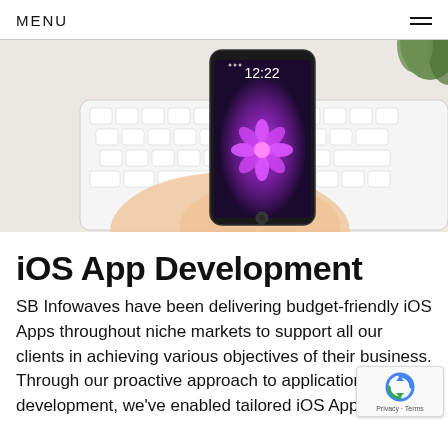MENU
[Figure (photo): A person's hands holding a black iPhone displaying a purple flower wallpaper and time 12:22, positioned above a white Apple keyboard. A small green plant is visible in the top right corner.]
iOS App Development
SB Infowaves have been delivering budget-friendly iOS Apps throughout niche markets to support all our clients in achieving various objectives of their business. Through our proactive approach to application development, we've enabled tailored iOS Apps